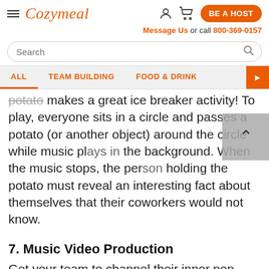Cozymeal — BE A HOST — Message Us or call 800-369-0157
[Figure (screenshot): Cozymeal website navigation header with hamburger menu, logo, user/cart icons, BE A HOST button, contact info, search bar, and category navigation tabs (ALL, TEAM BUILDING, FOOD & DRINK)]
potato makes a great ice breaker activity! To play, everyone sits in a circle and passes a potato (or another object) around the circle while music plays in the background. When the music stops, the person holding the potato must reveal an interesting fact about themselves that their coworkers would not know.
7. Music Video Production
Get your team to channel their inner pop star! Split everyone into groups and have them film their own